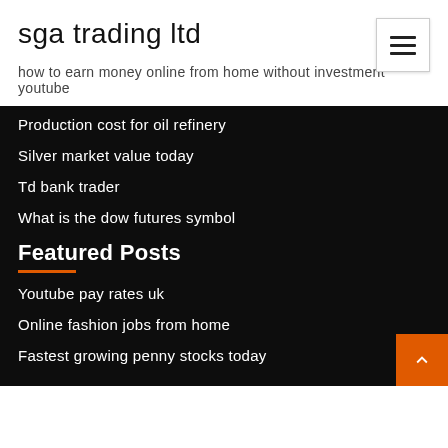sga trading ltd
how to earn money online from home without investment youtube
Production cost for oil refinery
Silver market value today
Td bank trader
What is the dow futures symbol
Featured Posts
Youtube pay rates uk
Online fashion jobs from home
Fastest growing penny stocks today